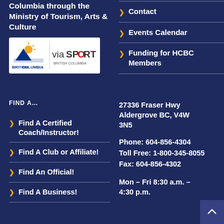Columbia through the Ministry of Tourism, Arts & Culture
[Figure (logo): British Columbia and viaSport British Columbia logos side by side on white background]
FIND A…
Find A Certified Coach/Instructor!
Find A Club or Affiliate!
Find An Official!
Find A Business!
Contact
Events Calendar
Funding for HCBC Members
27336 Fraser Hwy Aldergrove BC, V4W 3N5
Phone: 604-856-4304
Toll Free: 1-800-345-8055
Fax: 604-856-4302
Mon – Fri 8:30 a.m. – 4:30 p.m.